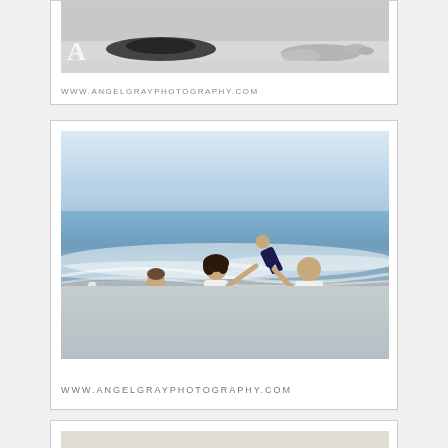[Figure (photo): Partial view of a black and white beach photo showing people lying on sand with bare feet visible, with Angel Gray Photography watermark logo 'A' and URL www.angelgrayphotography.com below]
[Figure (photo): Color beach family photo showing a woman and man in white tops and dark jeans walking on a beach with waves behind them, swinging a child between them, with a toddler in white dress walking beside them. Angel Gray Photography 'A' watermark logo and URL www.angelgrayphotography.com below]
[Figure (photo): Partial view of another beach photo at the bottom of the page, partially cut off]